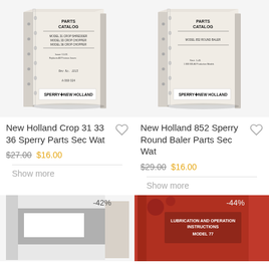[Figure (photo): New Holland Crop 31 33 36 Sperry Parts Catalog book cover, 3D angled view]
[Figure (photo): New Holland 852 Sperry Round Baler Parts Catalog book cover, 3D angled view]
New Holland Crop 31 33 36 Sperry Parts Sec Wat
$27.00 $16.00
Show more
New Holland 852 Sperry Round Baler Parts Sec Wat
$29.00 $16.00
Show more
[Figure (photo): Partial view of a gray/white book cover, -42% discount badge]
[Figure (photo): Partial view of a red book cover with text 'Lubrication and Operation Instructions Model 77', -44% discount badge]